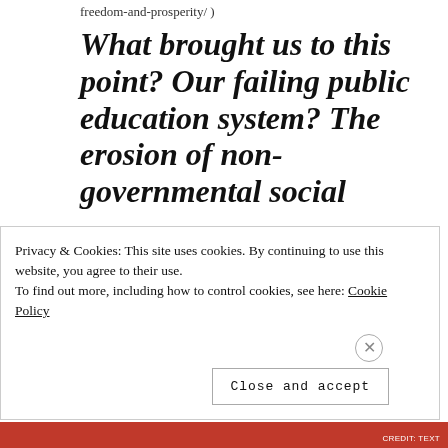freedom-and-prosperity/ )
What brought us to this point? Our failing public education system? The erosion of non-governmental social
Privacy & Cookies: This site uses cookies. By continuing to use this website, you agree to their use.
To find out more, including how to control cookies, see here: Cookie Policy
Close and accept